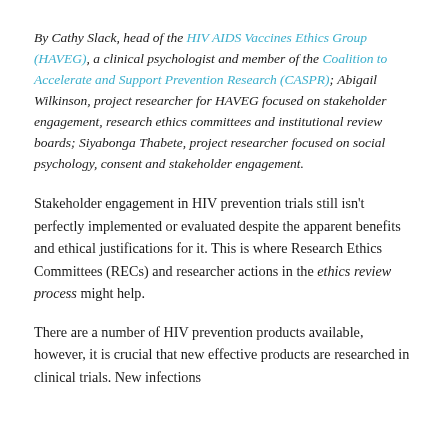By Cathy Slack, head of the HIV AIDS Vaccines Ethics Group (HAVEG), a clinical psychologist and member of the Coalition to Accelerate and Support Prevention Research (CASPR); Abigail Wilkinson, project researcher for HAVEG focused on stakeholder engagement, research ethics committees and institutional review boards; Siyabonga Thabete, project researcher focused on social psychology, consent and stakeholder engagement.
Stakeholder engagement in HIV prevention trials still isn't perfectly implemented or evaluated despite the apparent benefits and ethical justifications for it. This is where Research Ethics Committees (RECs) and researcher actions in the ethics review process might help.
There are a number of HIV prevention products available, however, it is crucial that new effective products are researched in clinical trials. New infections